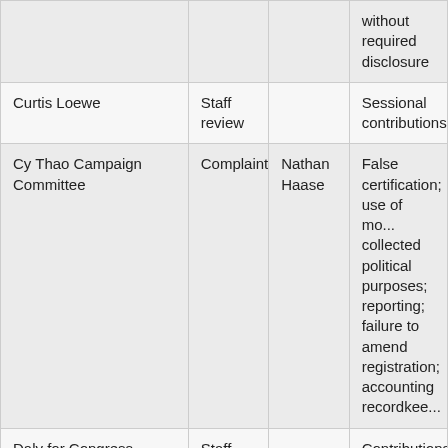|  |  |  | without required disclosure |
| Curtis Loewe | Staff review |  | Sessional contribution |
| Cy Thao Campaign Committee | Complaint | Nathan Haase | False certification; use of mo... collected political purposes; reporting; failure to amend registration; accounting recordkee... |
| Daly for Congress | Staff review |  | Contributions from unregistered associations without required disclosure |